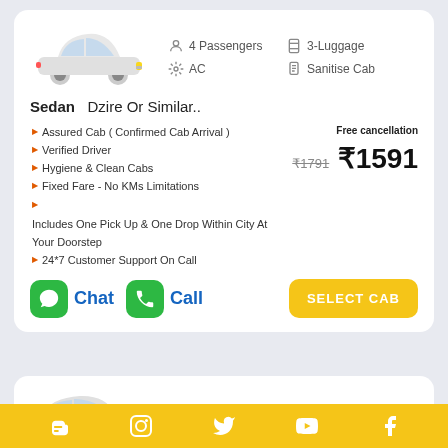[Figure (photo): White Maruti Suzuki Dzire sedan car image]
4 Passengers   3-Luggage   AC   Sanitise Cab
Sedan   Dzire Or Similar..
Assured Cab ( Confirmed Cab Arrival )
Verified Driver
Hygiene & Clean Cabs
Fixed Fare - No KMs Limitations
Includes One Pick Up & One Drop Within City At Your Doorstep
24*7 Customer Support On Call
Free cancellation
₹1791  ₹1591
Chat   Call   SELECT CAB
6 Passengers   6-Luggage
Blogger  Instagram  Twitter  YouTube  Facebook